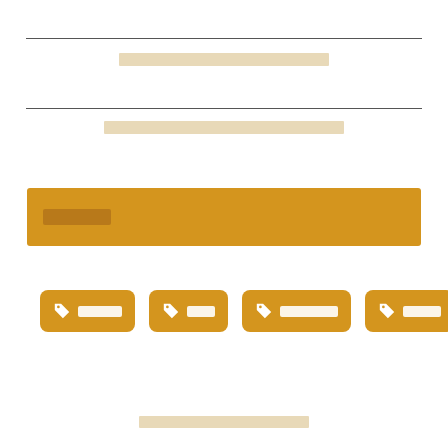[redacted text line 1]
[redacted text line 2]
[redacted section header]
[Figure (infographic): Four gold/amber tag-icon buttons with redacted text labels arranged horizontally]
[redacted footer text]